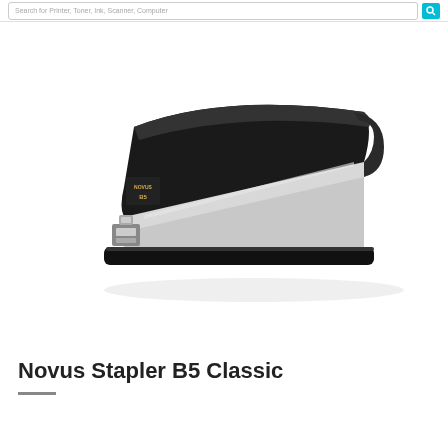Search for Printer, Toner, Ink, Scanner, Computer
[Figure (photo): A black and silver Novus Stapler B5 Classic on a white background. The stapler is shown in a diagonal perspective, with a black top body and silver chrome base. The brand name NOVUS and model B5 are visible on the side.]
Novus Stapler B5 Classic